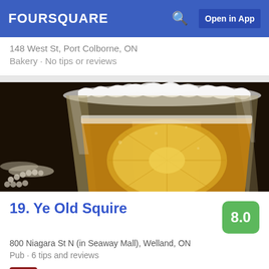FOURSQUARE   Open in App
148 West St, Port Colborne, ON
Bakery · No tips or reviews
[Figure (photo): Close-up photo of a beer glass with a lemon slice inside, foam dripping on the rim, held by a hand wearing pearl bracelet, dark background.]
19. Ye Old Squire
8.0
800 Niagara St N (in Seaway Mall), Welland, ON
Pub · 6 tips and reviews
Capt. John Swallow: Great food, good portions, reasonable prices. Burgers are excellent, wings are